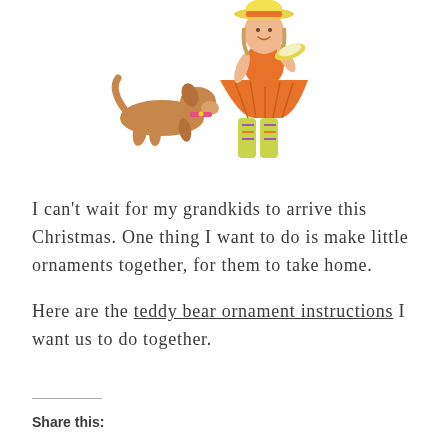[Figure (photo): A decorative ceramic figurine of a girl in an orange skirt and colorful boots, with a dog lying beside her. The figurine is shown on a white background.]
I can't wait for my grandkids to arrive this Christmas. One thing I want to do is make little ornaments together, for them to take home.
Here are the teddy bear ornament instructions I want us to do together.
Share this: